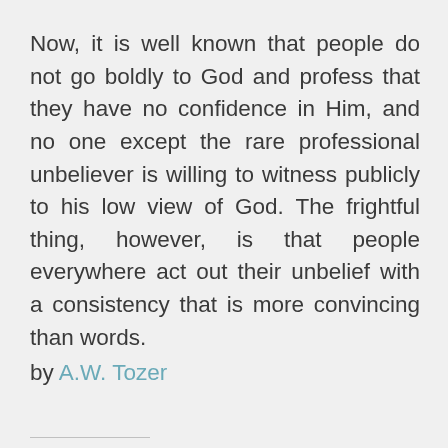Now, it is well known that people do not go boldly to God and profess that they have no confidence in Him, and no one except the rare professional unbeliever is willing to witness publicly to his low view of God. The frightful thing, however, is that people everywhere act out their unbelief with a consistency that is more convincing than words.
by A.W. Tozer